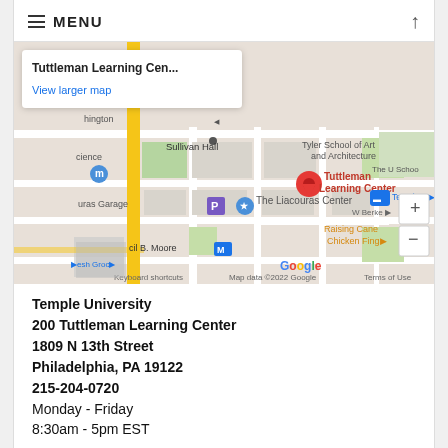≡ MENU
[Figure (map): Google Map screenshot showing Tuttleman Learning Center at Temple University campus, Philadelphia. Map displays surrounding streets, Sullivan Hall, The Liacouras Center, Tyler School of Art and Architecture, Temple University subway station, and nearby businesses. A red location pin marks Tuttleman Learning Center. A popup shows 'Tuttleman Learning Cen...' and 'View larger map'. Zoom controls (+/-) visible on the right. Google branding, keyboard shortcuts, and map data copyright notice visible at bottom.]
Temple University
200 Tuttleman Learning Center
1809 N 13th Street
Philadelphia, PA 19122
215-204-0720
Monday - Friday
8:30am - 5pm EST